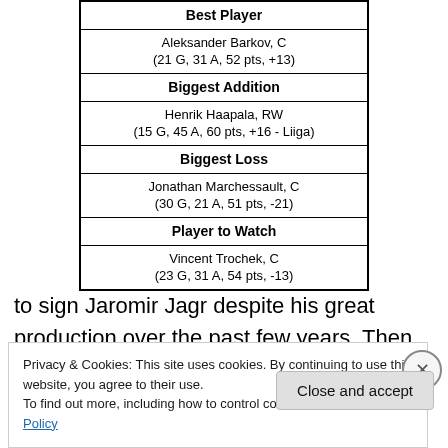| Best Player |
| --- |
| Aleksander Barkov, C
(21 G, 31 A, 52 pts, +13) |
| Biggest Addition |
| Henrik Haapala, RW
(15 G, 45 A, 60 pts, +16 - Liiga) |
| Biggest Loss |
| Jonathan Marchessault, C
(30 G, 21 A, 51 pts, -21) |
| Player to Watch |
| Vincent Trochek, C
(23 G, 31 A, 54 pts, -13) |
to sign Jaromir Jagr despite his great production over the past few years. Then they failed to protect 30-goal scorer
Privacy & Cookies: This site uses cookies. By continuing to use this website, you agree to their use.
To find out more, including how to control cookies, see here: Cookie Policy